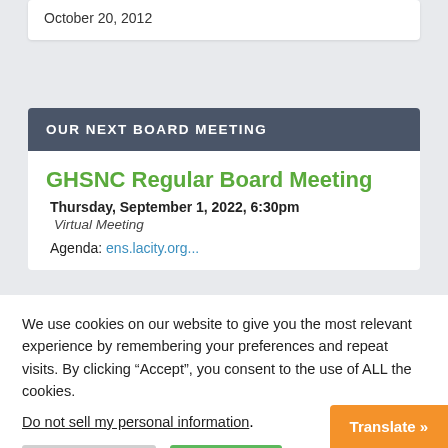October 20, 2012
OUR NEXT BOARD MEETING
GHSNC Regular Board Meeting
Thursday, September 1, 2022, 6:30pm
Virtual Meeting
Agenda: ens.lacity.org...
We use cookies on our website to give you the most relevant experience by remembering your preferences and repeat visits. By clicking “Accept”, you consent to the use of ALL the cookies.
Do not sell my personal information.
Cookie Settings
Accept All
Translate »